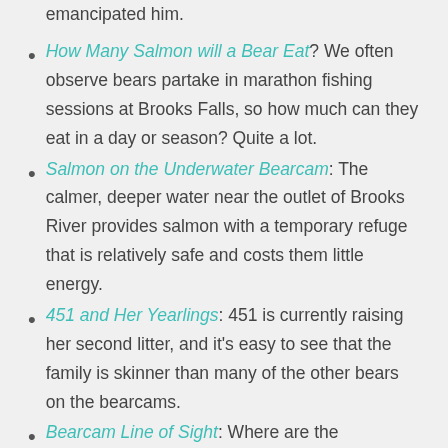emancipated him.
How Many Salmon will a Bear Eat? We often observe bears partake in marathon fishing sessions at Brooks Falls, so how much can they eat in a day or season? Quite a lot.
Salmon on the Underwater Bearcam: The calmer, deeper water near the outlet of Brooks River provides salmon with a temporary refuge that is relatively safe and costs them little energy.
451 and Her Yearlings: 451 is currently raising her second litter, and it's easy to see that the family is skinner than many of the other bears on the bearcams.
Bearcam Line of Sight: Where are the bearcams and where, specifically, do they look?
Brooks Falls Trail: Simply walking to Brooks Falls can be an exciting and memorable experience